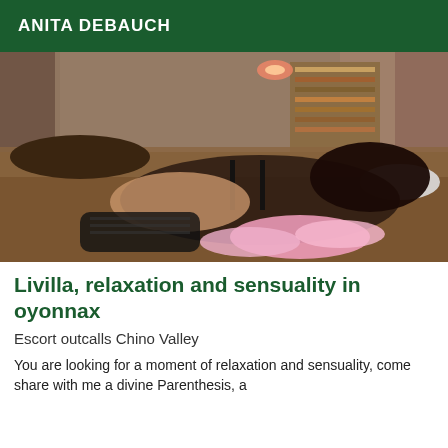ANITA DEBAUCH
[Figure (photo): A woman in black lingerie posing on a brown bed with a pink feather boa, in a bedroom setting with bookshelves and curtains in the background.]
Livilla, relaxation and sensuality in oyonnax
Escort outcalls Chino Valley
You are looking for a moment of relaxation and sensuality, come share with me a divine Parenthesis, a